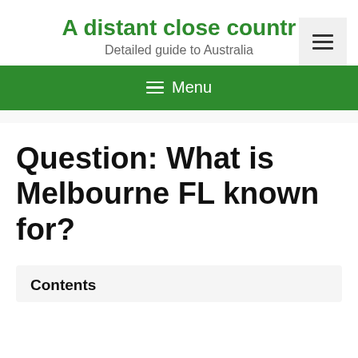A distant close countr
Detailed guide to Australia
≡ Menu
Question: What is Melbourne FL known for?
Contents